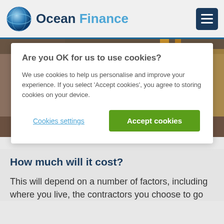Ocean Finance
Are you OK for us to use cookies?
We use cookies to help us personalise and improve your experience. If you select 'Accept cookies', you agree to storing cookies on your device.
[Figure (photo): Interior of an abandoned or derelict house showing exposed walls, a window, and wooden frames]
How much will it cost?
This will depend on a number of factors, including where you live, the contractors you choose to go